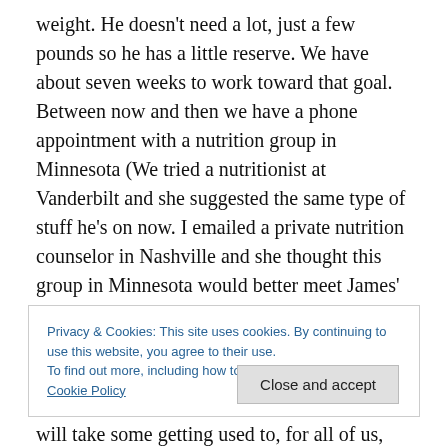weight. He doesn't need a lot, just a few pounds so he has a little reserve. We have about seven weeks to work toward that goal. Between now and then we have a phone appointment with a nutrition group in Minnesota (We tried a nutritionist at Vanderbilt and she suggested the same type of stuff he's on now. I emailed a private nutrition counselor in Nashville and she thought this group in Minnesota would better meet James' needs, so we'll give it a shot!). I'm hopeful that we'll get some good information and suggestions from them.
Privacy & Cookies: This site uses cookies. By continuing to use this website, you agree to their use. To find out more, including how to control cookies, see here: Cookie Policy
Close and accept
will take some getting used to, for all of us, but the benefits